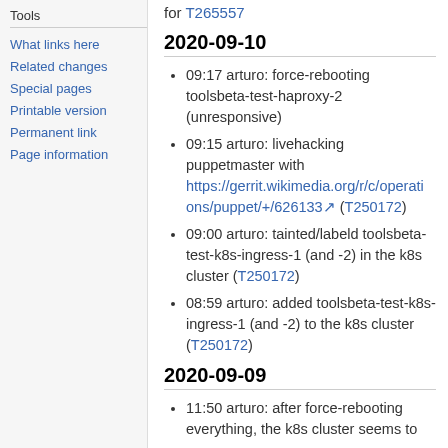for T265557
2020-09-10
09:17 arturo: force-rebooting toolsbeta-test-haproxy-2 (unresponsive)
09:15 arturo: livehacking puppetmaster with https://gerrit.wikimedia.org/r/c/operations/puppet/+/626133 (T250172)
09:00 arturo: tainted/labeld toolsbeta-test-k8s-ingress-1 (and -2) in the k8s cluster (T250172)
08:59 arturo: added toolsbeta-test-k8s-ingress-1 (and -2) to the k8s cluster (T250172)
2020-09-09
11:50 arturo: after force-rebooting everything, the k8s cluster seems to